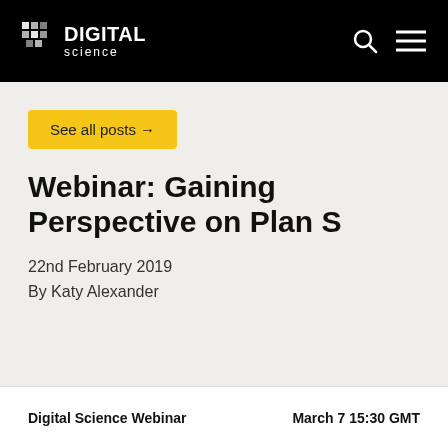DIGITAL science
See all posts →
Webinar: Gaining Perspective on Plan S
22nd February 2019
By Katy Alexander
Digital Science Webinar   March 7 15:30 GMT